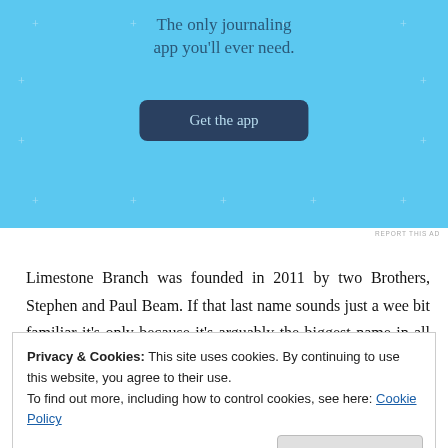[Figure (screenshot): Advertisement banner with light blue background showing text 'The only journaling app you'll ever need.' and a dark blue 'Get the app' button with sparkle decorations]
REPORT THIS AD
Limestone Branch was founded in 2011 by two Brothers, Stephen and Paul Beam. If that last name sounds just a wee bit familiar it's only because it's arguably the biggest name in all of Bourbon. The two are descended from Minor Case Beam on their father's side. They are also apparently related on their mother's side to the legendary distiller J.W. Dant. Hang on, now,
Privacy & Cookies: This site uses cookies. By continuing to use this website, you agree to their use.
To find out more, including how to control cookies, see here: Cookie Policy
Close and accept
facility to increase production of his very popular brand